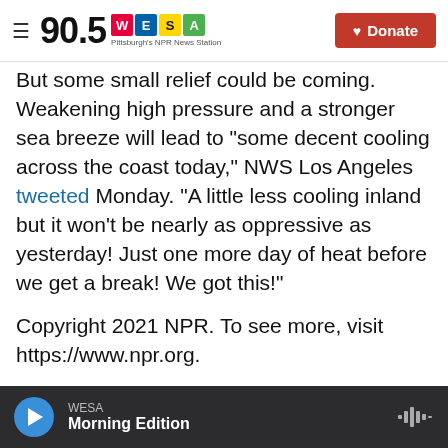90.5 WESA Pittsburgh's NPR News Station | Donate
But some small relief could be coming. Weakening high pressure and a stronger sea breeze will lead to "some decent cooling across the coast today," NWS Los Angeles tweeted Monday. "A little less cooling inland but it won't be nearly as oppressive as yesterday! Just one more day of heat before we get a break! We got this!"
Copyright 2021 NPR. To see more, visit https://www.npr.org.
Tags   National & International News   NPR News
WESA  Morning Edition